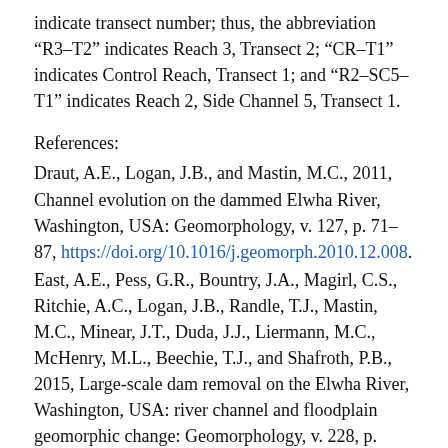indicate transect number; thus, the abbreviation "R3–T2" indicates Reach 3, Transect 2; "CR–T1" indicates Control Reach, Transect 1; and "R2–SC5–T1" indicates Reach 2, Side Channel 5, Transect 1.
References:
Draut, A.E., Logan, J.B., and Mastin, M.C., 2011, Channel evolution on the dammed Elwha River, Washington, USA: Geomorphology, v. 127, p. 71–87, https://doi.org/10.1016/j.geomorph.2010.12.008.
East, A.E., Pess, G.R., Bountry, J.A., Magirl, C.S., Ritchie, A.C., Logan, J.B., Randle, T.J., Mastin, M.C., Minear, J.T., Duda, J.J., Liermann, M.C., McHenry, M.L., Beechie, T.J., and Shafroth, P.B., 2015, Large-scale dam removal on the Elwha River, Washington, USA: river channel and floodplain geomorphic change: Geomorphology, v. 228, p. 765–786, https://doi.org/10.1016/j.geomorph.2014.08.028.
East, A.E., Logan, J.B., Mastin, M.C., Ritchie, A.C.,...